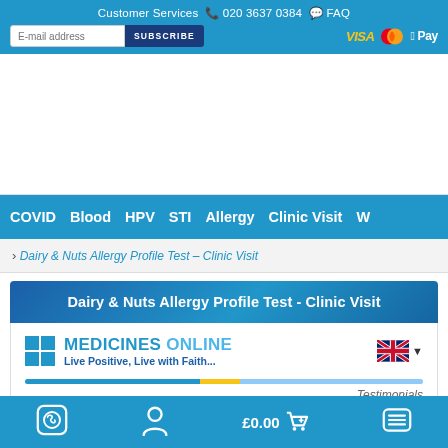Customer Services 020 3637 0384 FAQ
[Figure (screenshot): E-mail subscription input with SUBSCRIBE button, and payment icons: VISA, Mastercard, Apple Pay]
[Figure (screenshot): Navigation bar with links: COVID, Blood, HPV, STI, Allergy, Clinic Visit, W (truncated)]
Dairy & Nuts Allergy Profile Test – Clinic Visit
Dairy & Nuts Allergy Profile Test - Clinic Visit
[Figure (logo): Medicines Online logo with blue squares, brand name MEDICINES ONLINE, tagline Live Positive, Live with Faith..., UK flag dropdown, and Testimonials label]
WhatsApp icon | Account icon | £0.00 cart | Menu